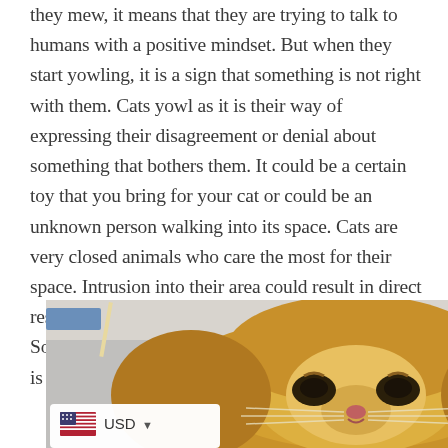they mew, it means that they are trying to talk to humans with a positive mindset. But when they start yowling, it is a sign that something is not right with them. Cats yowl as it is their way of expressing their disagreement or denial about something that bothers them. It could be a certain toy that you bring for your cat or could be an unknown person walking into its space. Cats are very closed animals who care the most for their space. Intrusion into their area could result in direct resentment and thus lead to long and loud yowls. So, owners need to be careful that their cat's space is never breached.
[Figure (photo): A fluffy orange/golden Persian cat with a grumpy facial expression, photographed from the front. In the lower left corner there is a USD currency selector overlay showing the US flag and 'USD' with a dropdown arrow.]